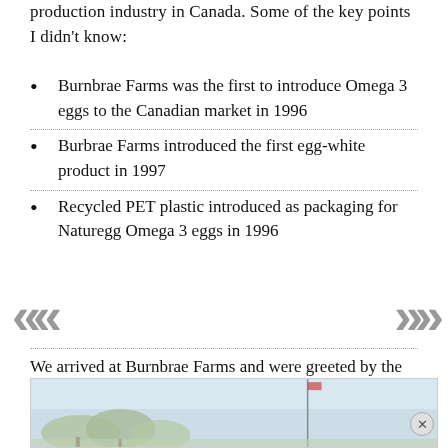production industry in Canada. Some of the key points I didn't know:
Burnbrae Farms was the first to introduce Omega 3 eggs to the Canadian market in 1996
Burbrae Farms introduced the first egg-white product in 1997
Recycled PET plastic introduced as packaging for Naturegg Omega 3 eggs in 1996
We arrived at Burnbrae Farms and were greeted by the friendly employees and an enthusiastic mascot who must have been “fried” in the heat.
[Figure (photo): Outdoor photo showing sky and trees at Burnbrae Farms]